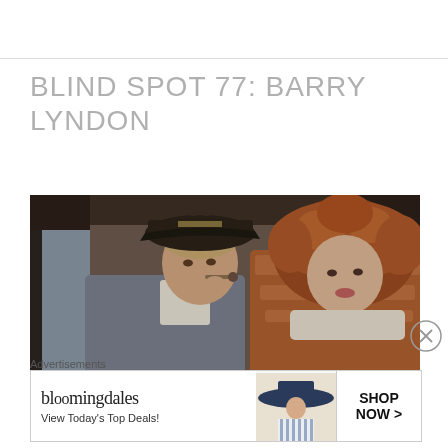BLIND SPOT 77: BARRY LYNDON
[Figure (photo): Film still from Barry Lyndon showing a man in 18th-century costume with a tricorn hat smoking a pipe, seated next to a woman wearing a large fur-trimmed coat inside a carriage]
[Figure (infographic): Bloomingdale's advertisement banner reading 'bloomingdales View Today's Top Deals! SHOP NOW >']
Advertisements